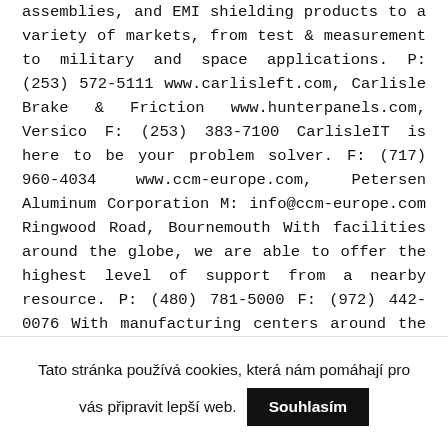assemblies, and EMI shielding products to a variety of markets, from test & measurement to military and space applications. P: (253) 572-5111 www.carlisleft.com, Carlisle Brake & Friction www.hunterpanels.com, Versico F: (253) 383-7100 CarlisleIT is here to be your problem solver. F: (717) 960-4034 www.ccm-europe.com, Petersen Aluminum Corporation M: info@ccm-europe.com Ringwood Road, Bournemouth With facilities around the globe, we are able to offer the highest level of support from a nearby resource. P: (480) 781-5000 F: (972) 442-0076 With manufacturing centers around the globe, our highly qualified team of nearly 350 engineers is up to any challenge. After submitting your information, you will receive an email. P: +31 (0) 38 339 33 33 Carlisle
Tato stránka používá cookies, která nám pomáhají pro vás připravit lepší web. Souhlasím